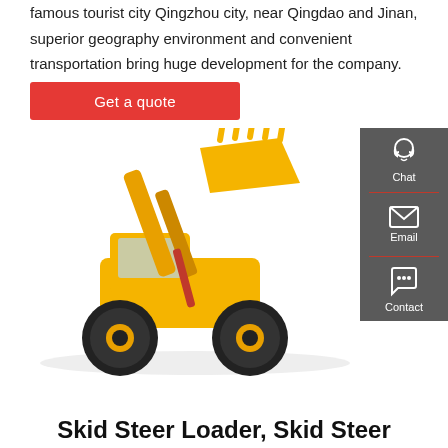famous tourist city Qingzhou city, near Qingdao and Jinan, superior geography environment and convenient transportation bring huge development for the company.
Get a quote
[Figure (photo): Yellow wheel loader / front-end loader construction machine with large bucket raised, shown on white background.]
[Figure (infographic): Sidebar panel with three icons and labels: Chat (headset icon), Email (envelope icon), Contact (speech bubble with dots icon), separated by red dividers.]
Skid Steer Loader, Skid Steer